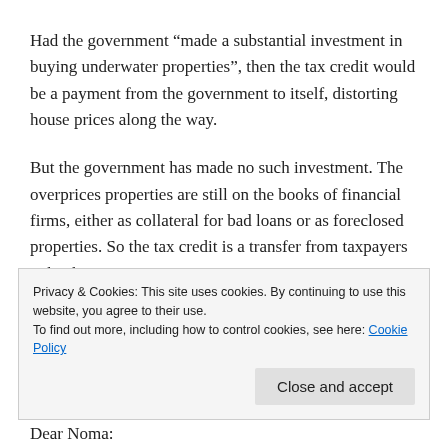Had the government “made a substantial investment in buying underwater properties”, then the tax credit would be a payment from the government to itself, distorting house prices along the way.
But the government has made no such investment. The overprices properties are still on the books of financial firms, either as collateral for bad loans or as foreclosed properties. So the tax credit is a transfer from taxpayers to banks.
The brilliant thing about it is that people like your son think it actually helped them, when it is really just a banking subsidy. You really can fool all of the people some of the time.
Privacy & Cookies: This site uses cookies. By continuing to use this website, you agree to their use.
To find out more, including how to control cookies, see here: Cookie Policy
Dear Noma: